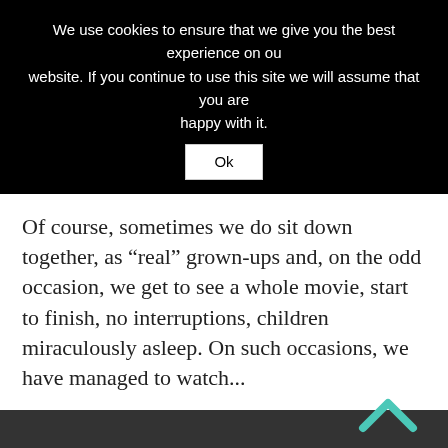We use cookies to ensure that we give you the best experience on our website. If you continue to use this site we will assume that you are happy with it.
Ok
Of course, sometimes we do sit down together, as “real” grown-ups and, on the odd occasion, we get to see a whole movie, start to finish, no interruptions, children miraculously asleep. On such occasions, we have managed to watch...
The Help! I loved the book and the movie definitely did not disappoint, both of us thoroughly enjoyed it! A big, fat ten out of ten! With a lovely ‘feel good’ factor ending! The only down-side to the movie is that you will NEVER want to eat chocolate cake again!